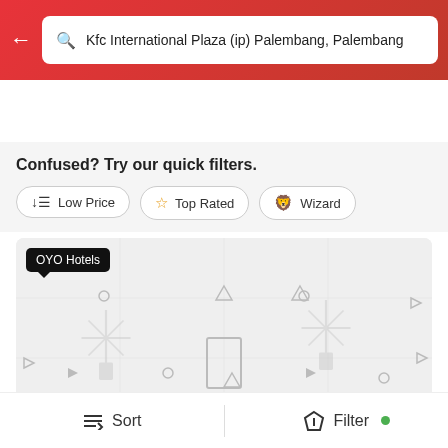Kfc International Plaza (ip) Palembang, Palembang
Wed, 24 Aug 02:00 PM | 1N | Thu, 25 Aug 12:00 PM | 1 Room 1 Guest
Confused? Try our quick filters.
Low Price
Top Rated
Wizard
[Figure (screenshot): Map view showing OYO Hotels location with hotel markers and map icons]
4.1 ★ | (134)
Sort  |  Filter